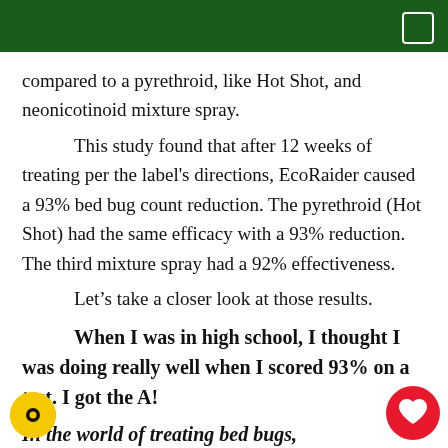compared to a pyrethroid, like Hot Shot, and neonicotinoid mixture spray.
This study found that after 12 weeks of treating per the label's directions, EcoRaider caused a 93% bed bug count reduction. The pyrethroid (Hot Shot) had the same efficacy with a 93% reduction. The third mixture spray had a 92% effectiveness.
Let's take a closer look at those results.
When I was in high school, I thought I was doing really well when I scored 93% on a test. I got the A!
In the world of treating bed bugs,